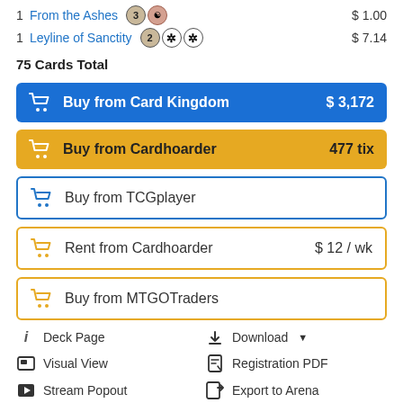1 From the Ashes — $1.00
1 Leyline of Sanctity — $7.14
75 Cards Total
Buy from Card Kingdom $3,172
Buy from Cardhoarder 477 tix
Buy from TCGplayer
Rent from Cardhoarder $12/wk
Buy from MTGOTraders
Deck Page
Download
Visual View
Registration PDF
Stream Popout
Export to Arena
Edit Copy
Set as Current